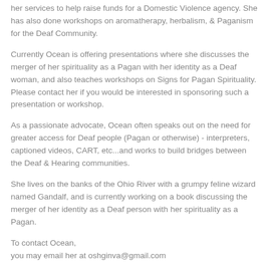her services to help raise funds for a Domestic Violence agency. She has also done workshops on aromatherapy, herbalism, & Paganism for the Deaf Community.
Currently Ocean is offering presentations where she discusses the merger of her spirituality as a Pagan with her identity as a Deaf woman, and also teaches workshops on Signs for Pagan Spirituality. Please contact her if you would be interested in sponsoring such a presentation or workshop.
As a passionate advocate, Ocean often speaks out on the need for greater access for Deaf people (Pagan or otherwise) - interpreters, captioned videos, CART, etc...and works to build bridges between the Deaf & Hearing communities.
She lives on the banks of the Ohio River with a grumpy feline wizard named Gandalf, and is currently working on a book discussing the merger of her identity as a Deaf person with her spirituality as a Pagan.
To contact Ocean,
you may email her at oshginva@gmail.com